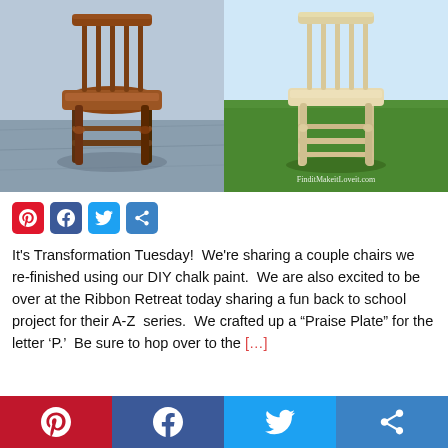[Figure (photo): Before and after photos of two wooden chairs. Left: a natural brown wood chair on a blue tarp. Right: the same style chair painted cream/white on a green lawn. Watermark reads 'FinditMakeitLoveit.com']
[Figure (infographic): Social share buttons row: Pinterest (red), Facebook (blue), Twitter (blue), More (blue)]
It's Transformation Tuesday!  We're sharing a couple chairs we re-finished using our DIY chalk paint.  We are also excited to be over at the Ribbon Retreat today sharing a fun back to school project for their A-Z  series.  We crafted up a “Praise Plate” for the letter ‘P.’  Be sure to hop over to the […]
[Figure (infographic): Bottom social share buttons: Pinterest (dark red), Facebook (blue), Twitter (blue), More (blue), spanning full width]